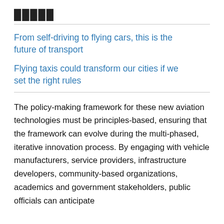█████
From self-driving to flying cars, this is the future of transport
Flying taxis could transform our cities if we set the right rules
The policy-making framework for these new aviation technologies must be principles-based, ensuring that the framework can evolve during the multi-phased, iterative innovation process. By engaging with vehicle manufacturers, service providers, infrastructure developers, community-based organizations, academics and government stakeholders, public officials can anticipate